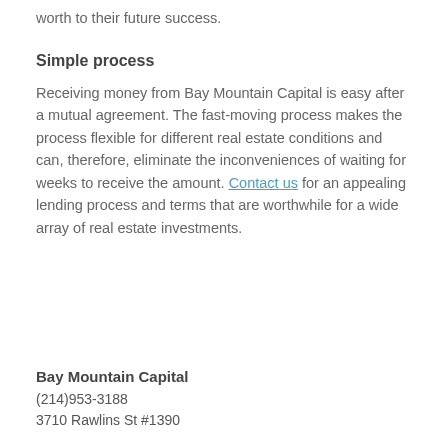worth to their future success.
Simple process
Receiving money from Bay Mountain Capital is easy after a mutual agreement. The fast-moving process makes the process flexible for different real estate conditions and can, therefore, eliminate the inconveniences of waiting for weeks to receive the amount. Contact us for an appealing lending process and terms that are worthwhile for a wide array of real estate investments.
Bay Mountain Capital
(214)953-3188
3710 Rawlins St #1390